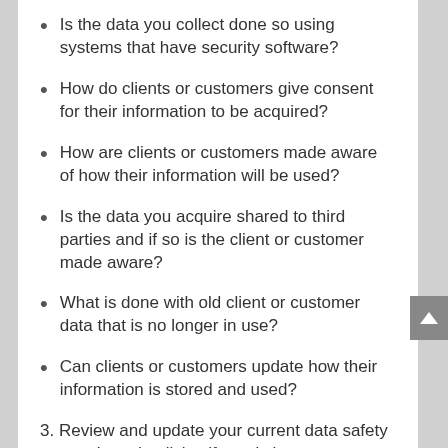Is the data you collect done so using systems that have security software?
How do clients or customers give consent for their information to be acquired?
How are clients or customers made aware of how their information will be used?
Is the data you acquire shared to third parties and if so is the client or customer made aware?
What is done with old client or customer data that is no longer in use?
Can clients or customers update how their information is stored and used?
3. Review and update your current data safety protocols and policies if needs be
4. Implement these safety protocols across your